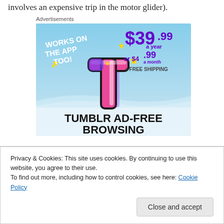involves an expensive trip in the motor glider).
Advertisements
[Figure (screenshot): Tumblr Ad-Free Browsing advertisement. Sky blue background with Tumblr 't' logo (pink/purple 3D style), yellow sparkles. Text: 'WORKS ON THE APP TOO!', '$39.99 a year', 'or $4.99 a month', '+ FREE SHIPPING', 'TUMBLR AD-FREE BROWSING']
Privacy & Cookies: This site uses cookies. By continuing to use this website, you agree to their use.
To find out more, including how to control cookies, see here: Cookie Policy